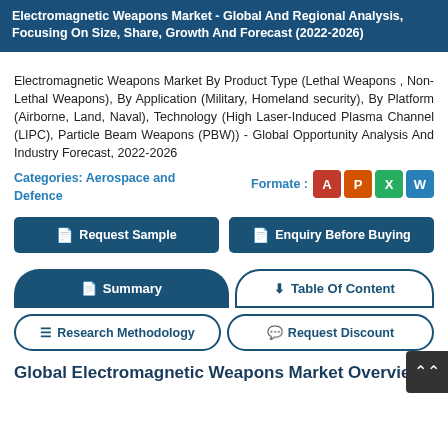Electromagnetic Weapons Market - Global And Regional Analysis, Focusing On Size, Share, Growth And Forecast (2022-2026)
Electromagnetic Weapons Market By Product Type (Lethal Weapons , Non-Lethal Weapons), By Application (Military, Homeland security), By Platform (Airborne, Land, Naval), Technology (High Laser-Induced Plasma Channel (LIPC), Particle Beam Weapons (PBW)) - Global Opportunity Analysis And Industry Forecast, 2022-2026
Categories: Aerospace and Defence
Formate :
[Figure (logo): Microsoft Office format icons: Access (red), PowerPoint (orange), Excel (green), Word (blue)]
Request Sample
Enquiry Before Buying
Summary
Table Of Content
Research Methodology
Request Discount
Global Electromagnetic Weapons Market Overview